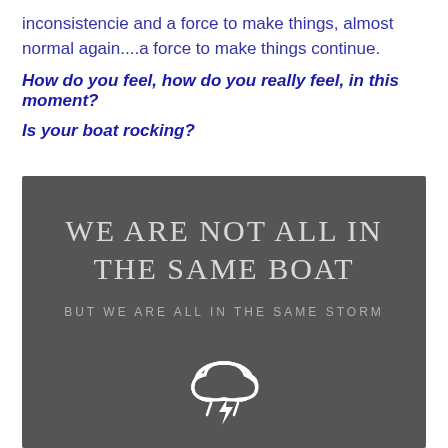inconsistencie and a force to make things, almost normal again....a force to make things continue.
How do you feel, how do you really feel, in this moment?
Is your boat rocking?
[Figure (illustration): Dark grey background image with white serif text reading 'WE ARE NOT ALL IN THE SAME BOAT' in large letters, and smaller text below reading 'BUT WE ARE ALL IN THE SAME STORM', with a white storm cloud and lightning bolt icon at the bottom.]